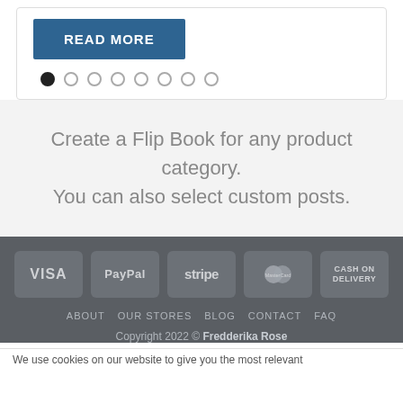[Figure (screenshot): READ MORE button with slider navigation dots below it]
Create a Flip Book for any product category. You can also select custom posts.
[Figure (infographic): Payment method badges: VISA, PayPal, stripe, MasterCard, CASH ON DELIVERY]
ABOUT   OUR STORES   BLOG   CONTACT   FAQ
Copyright 2022 © Fredderika Rose
We use cookies on our website to give you the most relevant